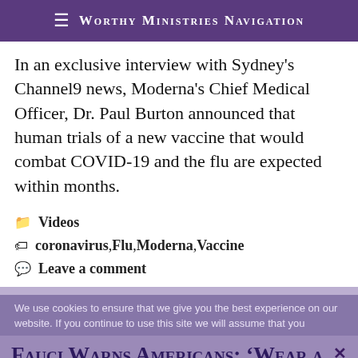Worthy Ministries Navigation
In an exclusive interview with Sydney's Channel9 news, Moderna's Chief Medical Officer, Dr. Paul Burton announced that human trials of a new vaccine that would combat COVID-19 and the flu are expected within months.
Videos
coronavirus, Flu, Moderna, Vaccine
Leave a comment
We use cookies to ensure that we give you the best experience on our website. If you continue to use this site we will assume that you
Fauci Warns Americans: ‘Wear a Mask When You’re Indoors — This Outbreak Isn’t Over Yet’